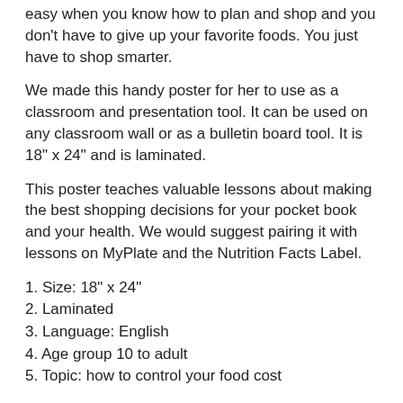easy when you know how to plan and shop and you don't have to give up your favorite foods. You just have to shop smarter.
We made this handy poster for her to use as a classroom and presentation tool. It can be used on any classroom wall or as a bulletin board tool. It is 18" x 24" and is laminated.
This poster teaches valuable lessons about making the best shopping decisions for your pocket book and your health. We would suggest pairing it with lessons on MyPlate and the Nutrition Facts Label.
1. Size: 18" x 24"
2. Laminated
3. Language: English
4. Age group 10 to adult
5. Topic: how to control your food cost
Activity Ideas:
1. Go online to your favorite store like Amazon Prime, Walmart, Whole Foods, or Peapod. Find out the prices for chips, sodas, cookies, and many of the popular empty calorie